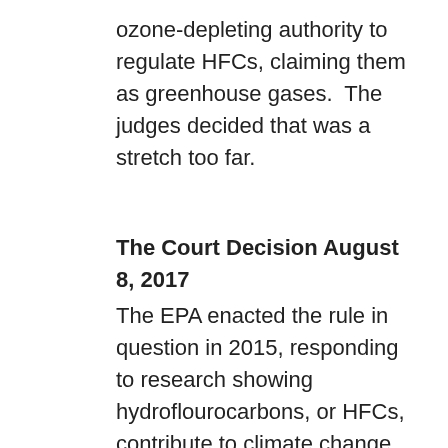ozone-depleting authority to regulate HFCs, claiming them as greenhouse gases.  The judges decided that was a stretch too far.
The Court Decision August 8, 2017
The EPA enacted the rule in question in 2015, responding to research showing hydroflourocarbons, or HFCs, contribute to climate change.
The D.C. Circuit Court of Appeals' 2-1 decision said EPA does not have the authority to enact a 2015 rule-making ending the use of hydrofluorocarbons commonly found in spray cans, automobile air conditioners and